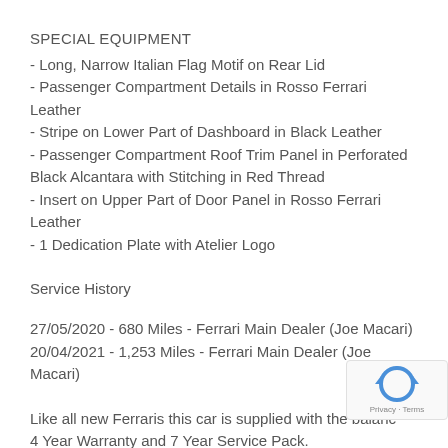SPECIAL EQUIPMENT
- Long, Narrow Italian Flag Motif on Rear Lid
- Passenger Compartment Details in Rosso Ferrari Leather
- Stripe on Lower Part of Dashboard in Black Leather
- Passenger Compartment Roof Trim Panel in Perforated Black Alcantara with Stitching in Red Thread
- Insert on Upper Part of Door Panel in Rosso Ferrari Leather
- 1 Dedication Plate with Atelier Logo
Service History
27/05/2020 - 680 Miles - Ferrari Main Dealer (Joe Macari)
20/04/2021 - 1,253 Miles - Ferrari Main Dealer (Joe Macari)
Like all new Ferraris this car is supplied with the balance 4 Year Warranty and 7 Year Service Pack.
[Figure (logo): Google reCAPTCHA badge with recycling-style arrow logo and Privacy - Terms text]